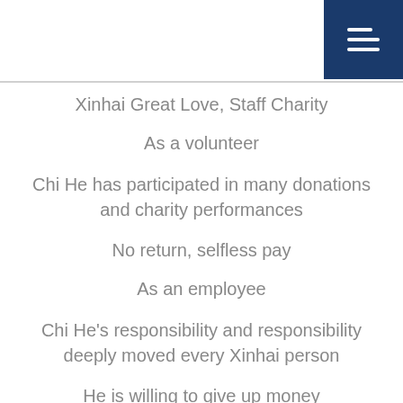[Figure (other): Dark blue menu/list icon button in top-right corner]
Xinhai Great Love, Staff Charity
As a volunteer
Chi He has participated in many donations and charity performances
No return, selfless pay
As an employee
Chi He's responsibility and responsibility deeply moved every Xinhai person
He is willing to give up money
Send urgently needed supplies to doctors and nurses